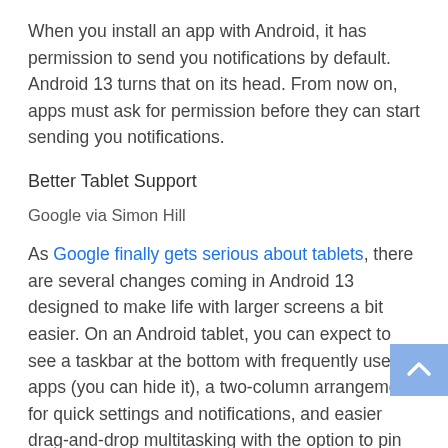When you install an app with Android, it has permission to send you notifications by default. Android 13 turns that on its head. From now on, apps must ask for permission before they can start sending you notifications.
Better Tablet Support
Google via Simon Hill
As Google finally gets serious about tablets, there are several changes coming in Android 13 designed to make life with larger screens a bit easier. On an Android tablet, you can expect to see a taskbar at the bottom with frequently used apps (you can hide it), a two-column arrangement for quick settings and notifications, and easier drag-and-drop multitasking with the option to pin app pairs in the Recent Apps menu. We're also expecting support for Wear OS smartwatches to unlock tablets automatically and support for audio switching, meaning